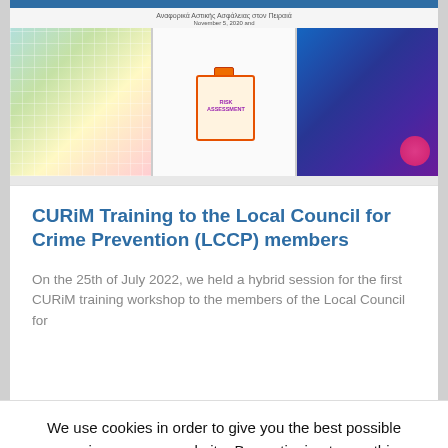[Figure (screenshot): Website screenshot showing a banner image with three panels: a colorful map on the left, a clipboard with 'RISK ASSESSMENT' text in the middle, and a dark blue digital/tech image on the right. A small caption text appears above in Greek or similar language.]
CURiM Training to the Local Council for Crime Prevention (LCCP) members
On the 25th of July 2022, we held a hybrid session for the first CURiM training workshop to the members of the Local Council for
We use cookies in order to give you the best possible experience on our website. By continuing to use this site, you agree to our use of cookies.
Accept
Privacy Policy